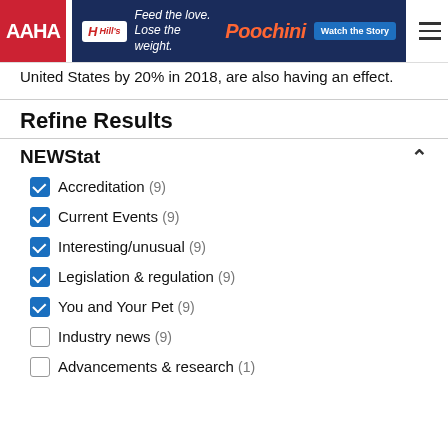[Figure (screenshot): AAHA website header with red AAHA logo on the left, Hill's Pet Nutrition advertisement banner in the center (Feed the love. Lose the weight. Poochini - Watch the Story), and hamburger menu icon on the right]
United States by 20% in 2018, are also having an effect.
Refine Results
NEWStat
Accreditation (9)
Current Events (9)
Interesting/unusual (9)
Legislation & regulation (9)
You and Your Pet (9)
Industry news (9)
Advancements & research (1)